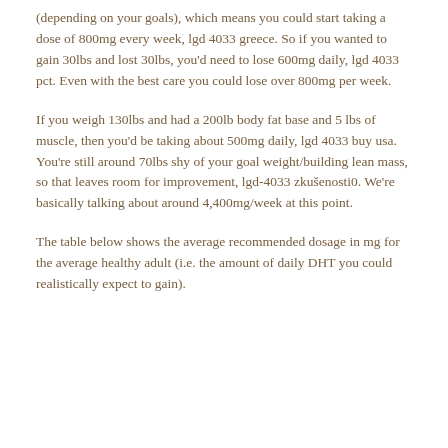(depending on your goals), which means you could start taking a dose of 800mg every week, lgd 4033 greece. So if you wanted to gain 30lbs and lost 30lbs, you'd need to lose 600mg daily, lgd 4033 pct. Even with the best care you could lose over 800mg per week.
If you weigh 130lbs and had a 200lb body fat base and 5 lbs of muscle, then you'd be taking about 500mg daily, lgd 4033 buy usa. You're still around 70lbs shy of your goal weight/building lean mass, so that leaves room for improvement, lgd-4033 zkušenosti0. We're basically talking about around 4,400mg/week at this point.
The table below shows the average recommended dosage in mg for the average healthy adult (i.e. the amount of daily DHT you could realistically expect to gain).